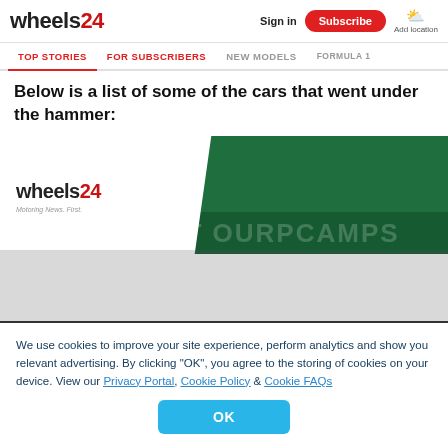wheels24 | Sign in | Subscribe | Add location
TOP STORIES | FOR SUBSCRIBERS | NEW MODELS | FORMULA 1
Below is a list of some of the cars that went under the hammer:
[Figure (logo): Wheels24 logo with green and dark green background promotional image]
We use cookies to improve your site experience, perform analytics and show you relevant advertising. By clicking "OK", you agree to the storing of cookies on your device. View our Privacy Portal, Cookie Policy & Cookie FAQs